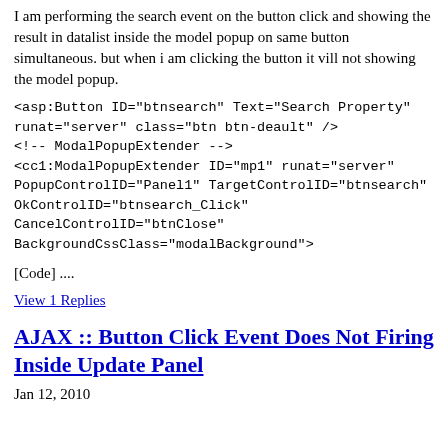I am performing the search event on the button click and showing the result in datalist inside the model popup on same button simultaneous. but when i am clicking the button it vill not showing the model popup.
<asp:Button ID="btnsearch" Text="Search Property" runat="server" class="btn btn-deault" OnClick="btnsearch_Click" />
<!-- ModalPopupExtender -->
<cc1:ModalPopupExtender ID="mp1" runat="server" PopupControlID="Panel1" TargetControlID="btnsearch" OkControlID="btnsearch_Click" CancelControlID="btnClose" BackgroundCssClass="modalBackground">
[Code] ....
View 1 Replies
AJAX :: Button Click Event Does Not Firing Inside Update Panel
Jan 12, 2010